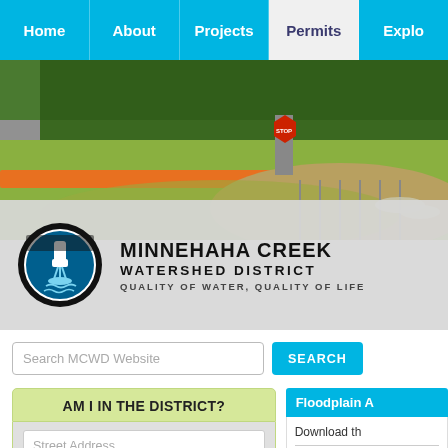Home | About | Projects | Permits | Explo
[Figure (photo): Outdoor construction/erosion control site with orange silt fence, grassy mound, stop sign, and trees in background]
[Figure (logo): Minnehaha Creek Watershed District circular logo with waterfall icon]
MINNEHAHA CREEK WATERSHED DISTRICT - QUALITY OF WATER, QUALITY OF LIFE
Search MCWD Website
AM I IN THE DISTRICT?
Street Address
City
NOTE: Do not include "MN" in the city field. Type only
Floodplain A
Download th
1. POLICY